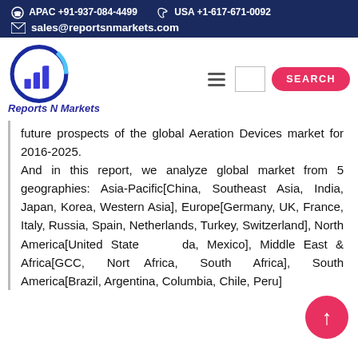APAC +91-937-084-4499   USA +1-617-671-0092   sales@reportsnmarkets.com
[Figure (logo): Reports N Markets logo with bar chart and arrow circle graphic, brand name 'Reports N Markets' in blue italic]
future prospects of the global Aeration Devices market for 2016-2025. And in this report, we analyze global market from 5 geographies: Asia-Pacific[China, Southeast Asia, India, Japan, Korea, Western Asia], Europe[Germany, UK, France, Italy, Russia, Spain, Netherlands, Turkey, Switzerland], North America[United States, Canada, Mexico], Middle East & Africa[GCC, North Africa, South Africa], South America[Brazil, Argentina, Columbia, Chile, Peru].